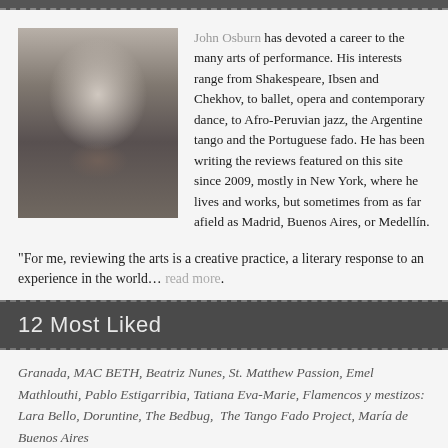[Figure (photo): Black and white portrait photo of John Osburn, a middle-aged man in a suit jacket, looking directly at the camera.]
John Osburn has devoted a career to the many arts of performance. His interests range from Shakespeare, Ibsen and Chekhov, to ballet, opera and contemporary dance, to Afro-Peruvian jazz, the Argentine tango and the Portuguese fado. He has been writing the reviews featured on this site since 2009, mostly in New York, where he lives and works, but sometimes from as far afield as Madrid, Buenos Aires, or Medellín.
"For me, reviewing the arts is a creative practice, a literary response to an experience in the world... read more.
12 Most Liked
Granada, MAC BETH, Beatriz Nunes, St. Matthew Passion, Emel Mathlouthi, Pablo Estigarribia, Tatiana Eva-Marie, Flamencos y mestizos: Lara Bello, Doruntine, The Bedbug, The Tango Fado Project, María de Buenos Aires